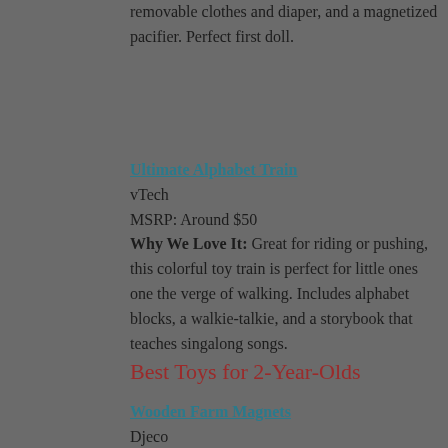removable clothes and diaper, and a magnetized pacifier. Perfect first doll.
Ultimate Alphabet Train
vTech
MSRP: Around $50
Why We Love It: Great for riding or pushing, this colorful toy train is perfect for little ones one the verge of walking. Includes alphabet blocks, a walkie-talkie, and a storybook that teaches singalong songs.
Best Toys for 2-Year-Olds
Wooden Farm Magnets
Djeco
MSRP: Around $24